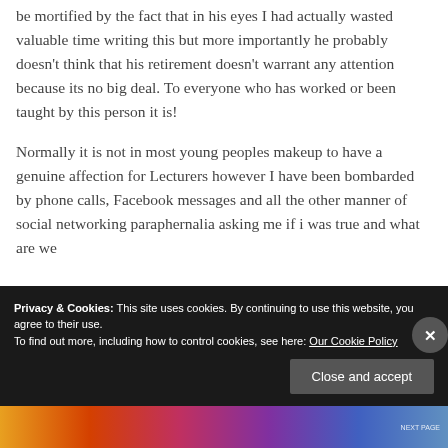Now I have not named this individual because he would be mortified by the fact that in his eyes I had actually wasted valuable time writing this but more importantly he probably doesn’t think that his retirement doesn’t warrant any attention because its no big deal. To everyone who has worked or been taught by this person it is!
Normally it is not in most young peoples makeup to have a genuine affection for Lecturers however I have been bombarded by phone calls, Facebook messages and all the other manner of social networking paraphernalia asking me if i was true and what are we
Privacy & Cookies: This site uses cookies. By continuing to use this website, you agree to their use. To find out more, including how to control cookies, see here: Our Cookie Policy